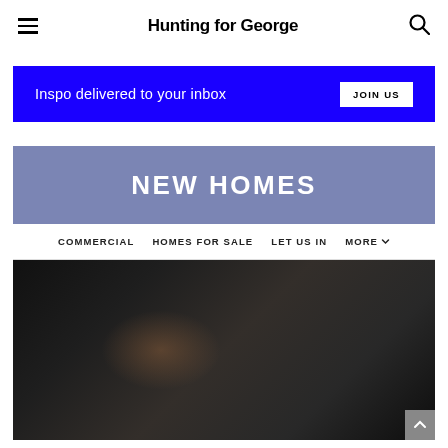Hunting for George
[Figure (other): Blue banner advertisement: 'Inspo delivered to your inbox' with a white JOIN US button]
NEW HOMES
COMMERCIAL   HOMES FOR SALE   LET US IN   MORE
[Figure (photo): Dark interior home photo, mostly black with a brownish warm glow in the center]